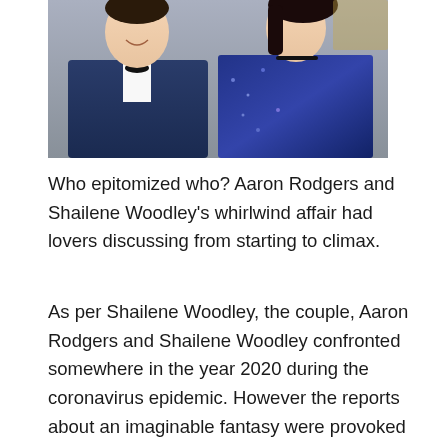[Figure (photo): Photo of a man in a dark blue tuxedo with bow tie and a woman in a blue sequined strapless dress with a black choker necklace, both smiling]
Who epitomized who? Aaron Rodgers and Shailene Woodley's whirlwind affair had lovers discussing from starting to climax.
As per Shailene Woodley, the couple, Aaron Rodgers and Shailene Woodley confronted somewhere in the year 2020 during the coronavirus epidemic. However the reports about an imaginable fantasy were provoked in July of the year 2020, and the affair was maintained tightly under wraps for some time after. only lovers.